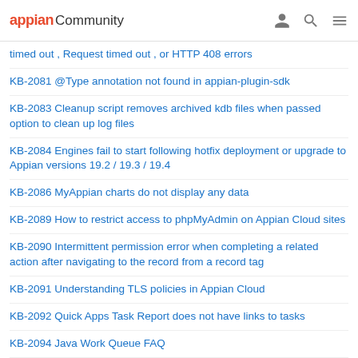appian Community
timed out , Request timed out , or HTTP 408 errors
KB-2081 @Type annotation not found in appian-plugin-sdk
KB-2083 Cleanup script removes archived kdb files when passed option to clean up log files
KB-2084 Engines fail to start following hotfix deployment or upgrade to Appian versions 19.2 / 19.3 / 19.4
KB-2086 MyAppian charts do not display any data
KB-2089 How to restrict access to phpMyAdmin on Appian Cloud sites
KB-2090 Intermittent permission error when completing a related action after navigating to the record from a record tag
KB-2091 Understanding TLS policies in Appian Cloud
KB-2092 Quick Apps Task Report does not have links to tasks
KB-2094 Java Work Queue FAQ
KB-2095 COVID-19: Appian Support and Cloud Operations — Fully Available
KB-2096 Kafka brokers out of sync in a high availability environment
KB-2099 "The site has exceeded the number of licensed users" message observed in the Admin Console
KB-2100 Overview of custom SMTP server setup process in Appian Cloud